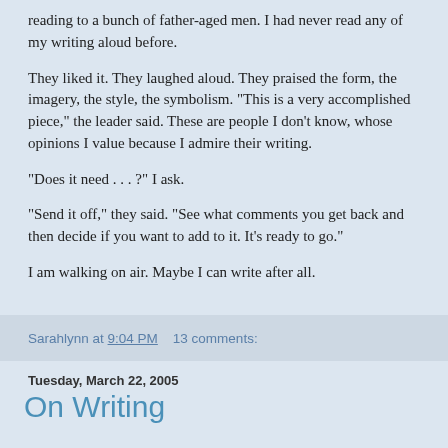reading to a bunch of father-aged men. I had never read any of my writing aloud before.
They liked it. They laughed aloud. They praised the form, the imagery, the style, the symbolism. "This is a very accomplished piece," the leader said. These are people I don't know, whose opinions I value because I admire their writing.
"Does it need . . . ?" I ask.
"Send it off," they said. "See what comments you get back and then decide if you want to add to it. It's ready to go."
I am walking on air. Maybe I can write after all.
Sarahlynn at 9:04 PM    13 comments:
Tuesday, March 22, 2005
On Writing